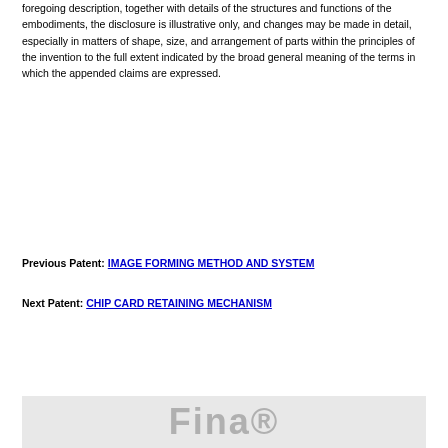foregoing description, together with details of the structures and functions of the embodiments, the disclosure is illustrative only, and changes may be made in detail, especially in matters of shape, size, and arrangement of parts within the principles of the invention to the full extent indicated by the broad general meaning of the terms in which the appended claims are expressed.
Previous Patent: IMAGE FORMING METHOD AND SYSTEM
Next Patent: CHIP CARD RETAINING MECHANISM
[Figure (logo): Website footer banner with partially visible logo text in gray on light gray background]